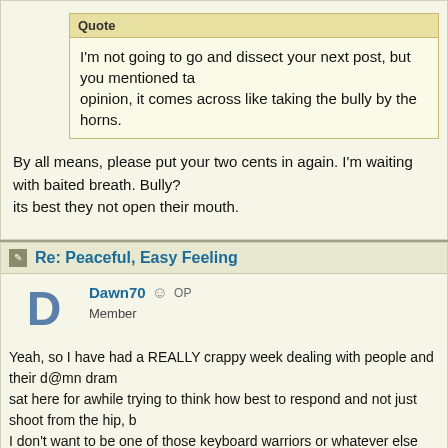Quote
I'm not going to go and dissect your next post, but you mentioned ta... opinion, it comes across like taking the bully by the horns.
By all means, please put your two cents in again. I'm waiting with baited breath. Bully?... its best they not open their mouth.
Re: Peaceful, Easy Feeling
Dawn70  OP
Member
Yeah, so I have had a REALLY crappy week dealing with people and their d@mn dram... sat here for awhile trying to think how best to respond and not just shoot from the hip, b... I don't want to be one of those keyboard warriors or whatever else you want to call ther... when people are blunt with me. I want to be honest with people.
So, in that vein I will start this by saying, as I have said several times today already, I'M... several posts when I can kind of sum it all up in one, but the one post I will comment on... is very difficult to grasp through text. I TOTALLY AGREE!!!!!!! In fact, I have been saying... assume all you want and infer things based on what you read, and even draw conclus...